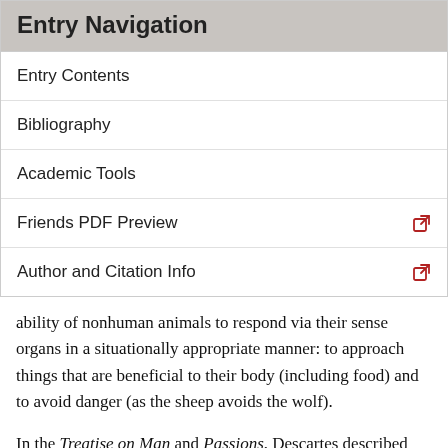Entry Navigation
Entry Contents
Bibliography
Academic Tools
Friends PDF Preview
Author and Citation Info
ability of nonhuman animals to respond via their sense organs in a situationally appropriate manner: to approach things that are beneficial to their body (including food) and to avoid danger (as the sheep avoids the wolf).
In the Treatise on Man and Passions, Descartes described purely mechanical processes in the sense organs, brain, and muscles, that were to account for the functions of the sensitive soul. These processes involved “animal spirits,” or subtle matter, as distilled out of the blood at the base of the brain and distributed down the nerves to cause muscle motions in accordance with brain structures and current